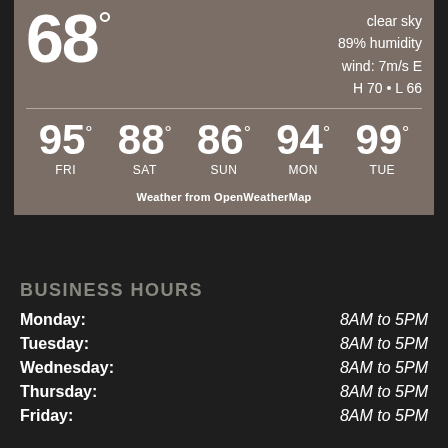[Figure (infographic): Weather widget showing current temperature 68°, clear sky, 89% humidity, wind 7m/s E, H 70 L 66, and 5-day forecast: FRI 95°, SAT 88°, SUN 86°, MON 94°, TUE 99°. Attribution: Weather from OpenWeatherMap.]
BUSINESS HOURS
| Day | Hours |
| --- | --- |
| Monday: | 8AM to 5PM |
| Tuesday: | 8AM to 5PM |
| Wednesday: | 8AM to 5PM |
| Thursday: | 8AM to 5PM |
| Friday: | 8AM to 5PM |